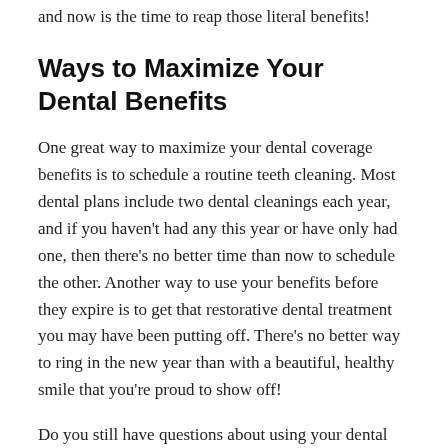and now is the time to reap those literal benefits!
Ways to Maximize Your Dental Benefits
One great way to maximize your dental coverage benefits is to schedule a routine teeth cleaning. Most dental plans include two dental cleanings each year, and if you haven't had any this year or have only had one, then there's no better time than now to schedule the other. Another way to use your benefits before they expire is to get that restorative dental treatment you may have been putting off. There's no better way to ring in the new year than with a beautiful, healthy smile that you're proud to show off!
Do you still have questions about using your dental